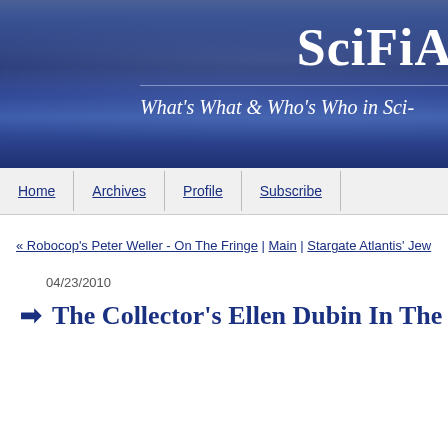SciFiA
What's What & Who's Who in Sci-
Home | Archives | Profile | Subscribe
« Robocop's Peter Weller - On The Fringe | Main | Stargate Atlantis' Jew
04/23/2010
➡ The Collector's Ellen Dubin In The Lois Wils